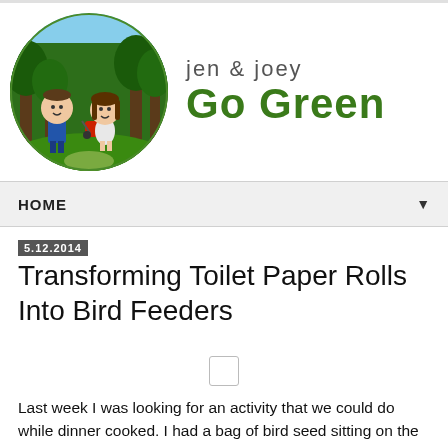[Figure (illustration): Circular logo showing cartoon bobblehead figures of a man and woman with a stroller in a forest setting]
Jen & Joey
Go Green
HOME
5.12.2014
Transforming Toilet Paper Rolls Into Bird Feeders
[Figure (photo): Small image placeholder (loading)]
Last week I was looking for an activity that we could do while dinner cooked. I had a bag of bird seed sitting on the counter still from when I had cleaned out the pantry.  I saw it and was brought back to when I was young and in Girl Guides doing